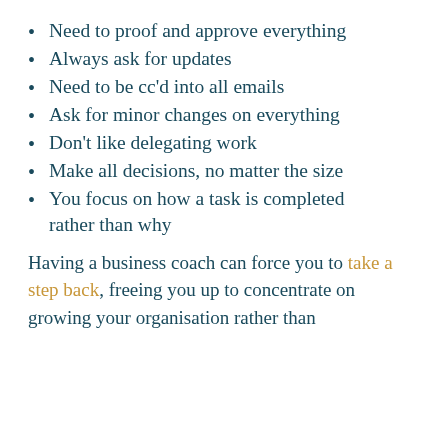Need to proof and approve everything
Always ask for updates
Need to be cc'd into all emails
Ask for minor changes on everything
Don't like delegating work
Make all decisions, no matter the size
You focus on how a task is completed rather than why
Having a business coach can force you to take a step back, freeing you up to concentrate on growing your organisation rather than